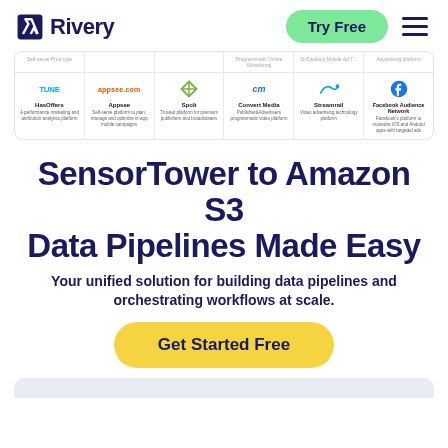Rivery — Try Free
[Figure (screenshot): Grid of advertising/marketing platform logos including HasOffers (TUNE), Appsee, SpoIt, Convert Media, Streamrail, Facebook Audience Network with small descriptions]
SensorTower to Amazon S3 Data Pipelines Made Easy
Your unified solution for building data pipelines and orchestrating workflows at scale.
Get Started Free